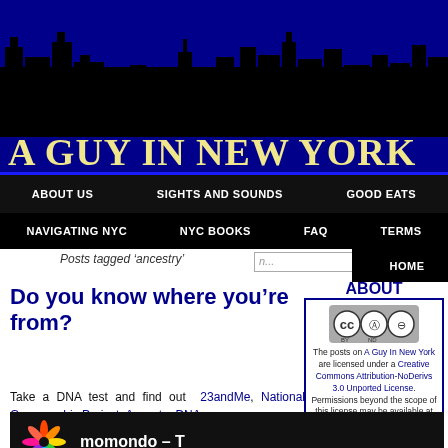[Figure (illustration): Website header banner with NYC skyline silhouette in black against dark blue background, with site title 'A GUY IN NEW YORK' in gold/yellow serif font]
ABOUT US | SIGHTS AND SOUNDS | GOOD EATS
NAVIGATING NYC | NYC BOOKS | FAQ | TERMS
HOME
Posts tagged 'ancestry'
Do you know where you're from?
Take a DNA test and find out 23andMe, National Genographic Project, Ancestry DNA
ABOUT
The posts on A Guy In New York are licensed under a Creative Commons Attribution-NoDerivs 3.0 Unported License. Permissions beyond the scope of this license may be available at Terms.
Contact us: aguyinnewyork -at- gmail.com
[Figure (logo): Momondo colorful flower/pinwheel logo followed by text 'momondo - T']